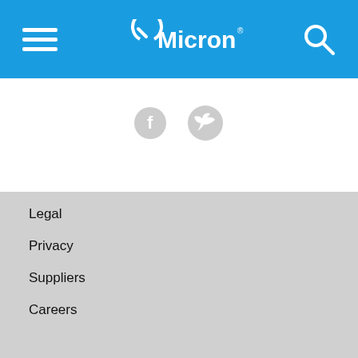Micron navigation bar with hamburger menu and search icon
[Figure (logo): Micron logo in white on blue navigation bar]
[Figure (other): Facebook and Twitter social media icons in light gray]
Legal
Privacy
Suppliers
Careers